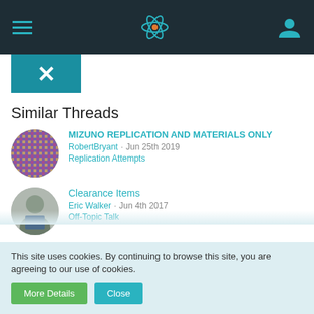Navigation bar with hamburger menu, atom logo, and user icon
[Figure (logo): Teal/green square logo with X mark]
Similar Threads
MIZUNO REPLICATION AND MATERIALS ONLY | RobertBryant · Jun 25th 2019 | Replication Attempts
Clearance Items | Eric Walker · Jun 4th 2017 | Off-Topic Talk
Albiston/FluxHeat Mizuno Analogue Experiments | Brian Albiston · Jan 12th 2020 | Replication Attempts
The Burden of Proof. | Alan Smith · Jan 11th 2020 | Off-Topic Talk
This site uses cookies. By continuing to browse this site, you are agreeing to our use of cookies.